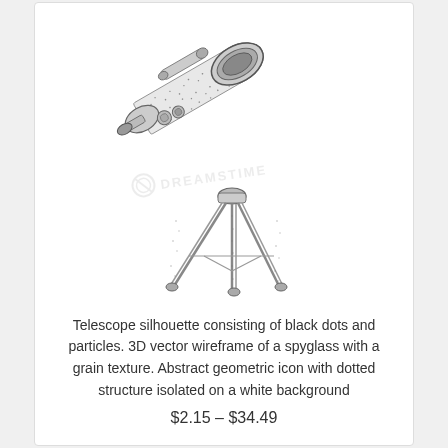[Figure (illustration): A detailed stippled/dotted illustration of a telescope on a tripod, angled diagonally, with a watermark overlay reading 'DREAMSTIME' or similar stock photo watermark. The telescope is drawn with black dots and particles giving a 3D wireframe/grain texture effect.]
Telescope silhouette consisting of black dots and particles. 3D vector wireframe of a spyglass with a grain texture. Abstract geometric icon with dotted structure isolated on a white background
$2.15 – $34.49